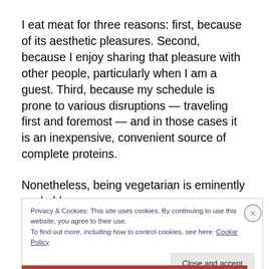I eat meat for three reasons: first, because of its aesthetic pleasures. Second, because I enjoy sharing that pleasure with other people, particularly when I am a guest. Third, because my schedule is prone to various disruptions — traveling first and foremost — and in those cases it is an inexpensive, convenient source of complete proteins.
Nonetheless, being vegetarian is eminently workable.
Privacy & Cookies: This site uses cookies. By continuing to use this website, you agree to their use.
To find out more, including how to control cookies, see here: Cookie Policy